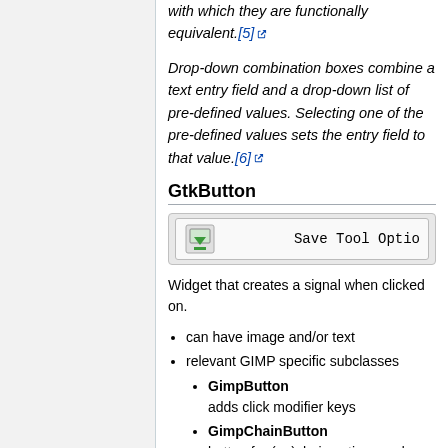radio buttons of a single-selection list, with which they are functionally equivalent.[5]
Drop-down combination boxes combine a text entry field and a drop-down list of pre-defined values. Selecting one of the pre-defined values sets the entry field to that value.[6]
GtkButton
[Figure (screenshot): A GtkButton widget showing a save icon and 'Save Tool Optio...' label]
Widget that creates a signal when clicked on.
can have image and/or text
relevant GIMP specific subclasses
GimpButton
adds click modifier keys
GimpChainButton
button for (un)chain action used...